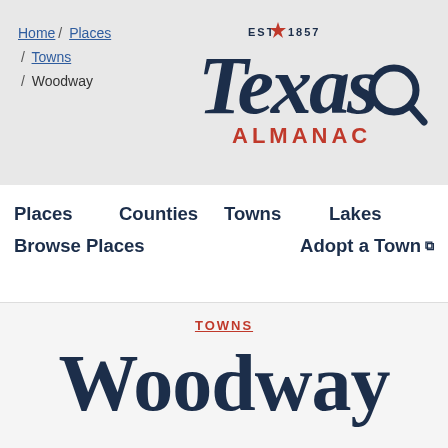Home / Places / Towns / Woodway
[Figure (logo): Texas Almanac logo with EST 1857 text and magnifying glass icon]
Places   Counties   Towns   Lakes   Browse Places   Adopt a Town
TOWNS
Woodway